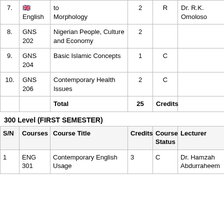| S/N | Courses | Course Title | Credits | Course Status | Lecturer |
| --- | --- | --- | --- | --- | --- |
| 7. | English | Intro to Morphology | 2 | R | Dr. R.K. Omoloso |
| 8. | GNS 202 | Nigerian People, Culture and Economy | 2 |  |  |
| 9. | GNS 204 | Basic Islamic Concepts | 1 | C |  |
| 10. | GNS 206 | Contemporary Health Issues | 2 | C |  |
|  |  | Total | 25 | Credits |  |
300 Level (FIRST SEMESTER)
| S/N | Courses | Course Title | Credits | Course Status | Lecturer |
| --- | --- | --- | --- | --- | --- |
| 1 | ENG 301 | Contemporary English Usage | 3 | C | Dr. Hamzah Abdurraheem |